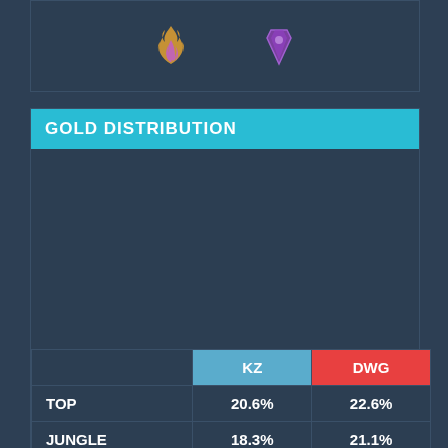[Figure (illustration): Top panel with two game icons: a flame/fire icon and a purple crystal/coffin icon]
GOLD DISTRIBUTION
[Figure (other): Empty chart area for gold distribution visualization]
|  | KZ | DWG |
| --- | --- | --- |
| TOP | 20.6% | 22.6% |
| JUNGLE | 18.3% | 21.1% |
| MID | 21.6% | 21.5% |
| ADC | 23.6% | 21.3% |